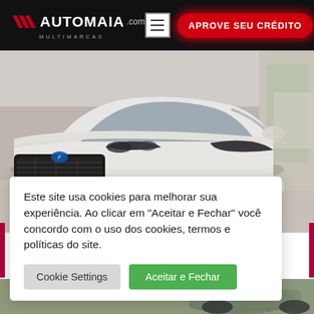AUTOMAIA.com MULTIMARCAS — APROVE SEU CRÉDITO
[Figure (photo): White Ford Ka hatchback parked indoors in a dealership showroom, front three-quarter view showing the grille, headlights, and hood. Automaia logo on the license plate area.]
Este site usa cookies para melhorar sua experiência. Ao clicar em "Aceitar e Fechar" você concordo com o uso dos cookies, termos e políticas do site.
Cookie Settings
Aceitar e Fechar
[Figure (photo): Partial view of another vehicle in the bottom strip of the page.]